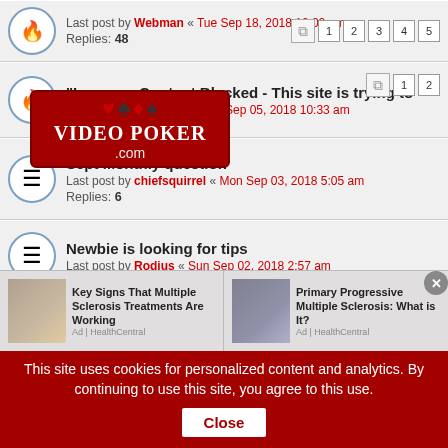Last post by Webman « Tue Sep 18, 2018 12:00 pm
Replies: 48
"Insecure Content Blocked - This site is trying to
Last post by Webman « Wed Sep 05, 2018 10:33 am
[Figure (logo): Video Poker .com logo with card suit symbols]
Sept Monthly question
Last post by chiefsquirrel « Mon Sep 03, 2018 5:05 am
Replies: 6
Newbie is looking for tips
Last post by Rodius « Sun Sep 02, 2018 2:57 am
Random Monthly Drawing
Last post by Schnauze « Fri Aug 24, 2018 9:12 am
Replies: 1
Dream Card nightmare?
Last post by wcc2 « Tue Aug 14, 2018 7:22 pm
dc-daily
[Figure (infographic): Advertisement banner with two ads: Key Signs That Multiple Sclerosis Treatments Are Working, and Primary Progressive Multiple Sclerosis: What is It?]
This site uses cookies for personalized content and analytics. By continuing to use this site, you agree to this use. Close